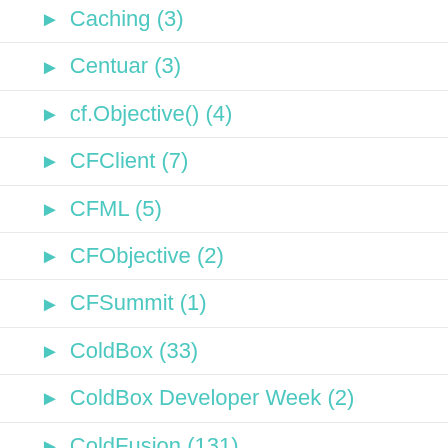Caching (3)
Centuar (3)
cf.Objective() (4)
CFClient (7)
CFML (5)
CFObjective (2)
CFSummit (1)
ColdBox (33)
ColdBox Developer Week (2)
ColdFusion (131)
ColdFusion Builder (8)
CommandBox (17)
ContentBox (2)